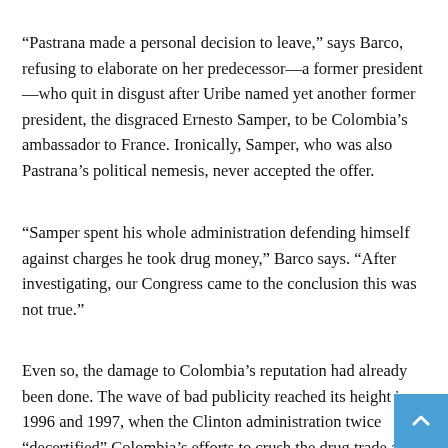“Pastrana made a personal decision to leave,” says Barco, refusing to elaborate on her predecessor—a former president—who quit in disgust after Uribe named yet another former president, the disgraced Ernesto Samper, to be Colombia’s ambassador to France. Ironically, Samper, who was also Pastrana’s political nemesis, never accepted the offer.
“Samper spent his whole administration defending himself against charges he took drug money,” Barco says. “After investigating, our Congress came to the conclusion this was not true.”
Even so, the damage to Colombia’s reputation had already been done. The wave of bad publicity reached its height in 1996 and 1997, when the Clinton administration twice “decertified” Colombia’s efforts to crush the drug trade and